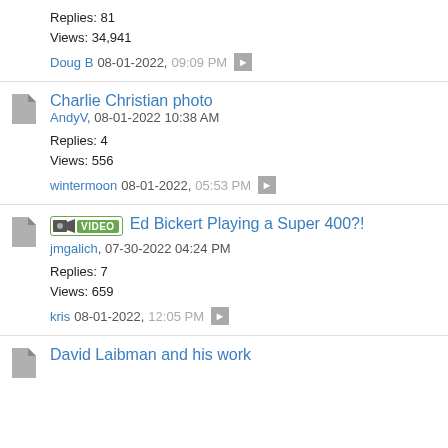Replies: 81
Views: 34,941
Doug B 08-01-2022, 09:09 PM
Charlie Christian photo
AndyV, 08-01-2022 10:38 AM
Replies: 4
Views: 556
wintermoon 08-01-2022, 05:53 PM
Ed Bickert Playing a Super 400?!
jmgalich, 07-30-2022 04:24 PM
Replies: 7
Views: 659
kris 08-01-2022, 12:05 PM
David Laibman and his work